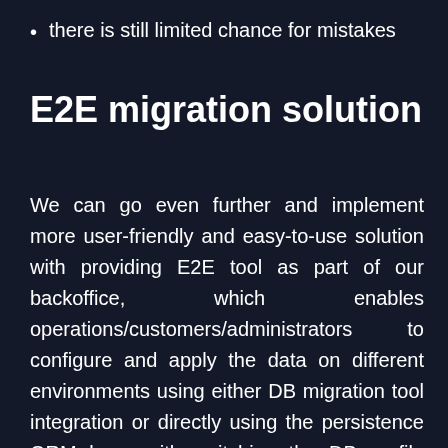there is still limited chance for mistakes
E2E migration solution
We can go even further and implement more user-friendly and easy-to-use solution with providing E2E tool as part of our backoffice, which enables operations/customers/administrators to configure and apply the data on different environments using either DB migration tool integration or directly using the persistence ORM layer with switching the DB profile from the frontend.